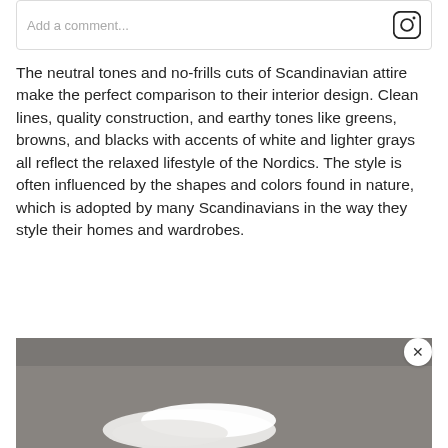Add a comment...
The neutral tones and no-frills cuts of Scandinavian attire make the perfect comparison to their interior design. Clean lines, quality construction, and earthy tones like greens, browns, and blacks with accents of white and lighter grays all reflect the relaxed lifestyle of the Nordics. The style is often influenced by the shapes and colors found in nature, which is adopted by many Scandinavians in the way they style their homes and wardrobes.
[Figure (photo): A partial view of a photo showing what appears to be a shoe or white object on a gray background, with a close button overlay in the top right corner.]